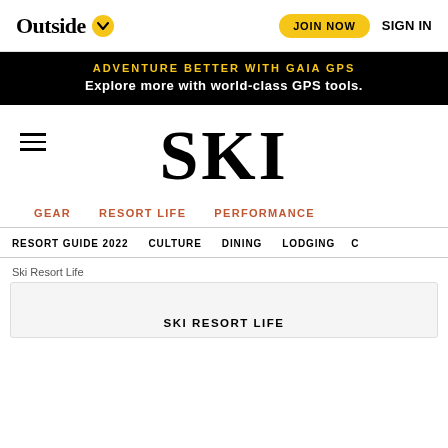Outside ∨   JOIN NOW   SIGN IN
ADVENTURE BETTER WITH GAIA GPS
Explore more with world-class GPS tools.
[Figure (logo): SKI magazine logo in large serif bold font]
GEAR   RESORT LIFE   PERFORMANCE
RESORT GUIDE 2022   CULTURE   DINING   LODGING   C
Ski Resort Life
SKI RESORT LIFE